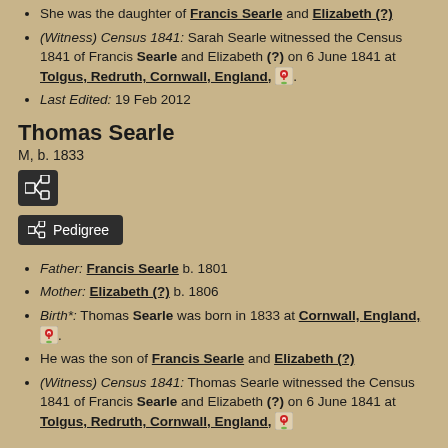She was the daughter of Francis Searle and Elizabeth (?)
(Witness) Census 1841: Sarah Searle witnessed the Census 1841 of Francis Searle and Elizabeth (?) on 6 June 1841 at Tolgus, Redruth, Cornwall, England,.
Last Edited: 19 Feb 2012
Thomas Searle
M, b. 1833
[Figure (other): Family tree icon button (dark background)]
Pedigree button
Father: Francis Searle b. 1801
Mother: Elizabeth (?) b. 1806
Birth*: Thomas Searle was born in 1833 at Cornwall, England,.
He was the son of Francis Searle and Elizabeth (?)
(Witness) Census 1841: Thomas Searle witnessed the Census 1841 of Francis Searle and Elizabeth (?) on 6 June 1841 at Tolgus, Redruth, Cornwall, England,